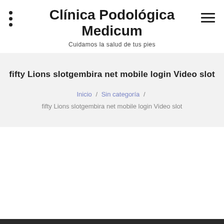Clínica Podológica Medicum
Cuidamos la salud de tus pies
fifty Lions slotgembira net mobile login Video slot
Inicio / Sin categoría / fifty Lions slotgembira net mobile login Video slot